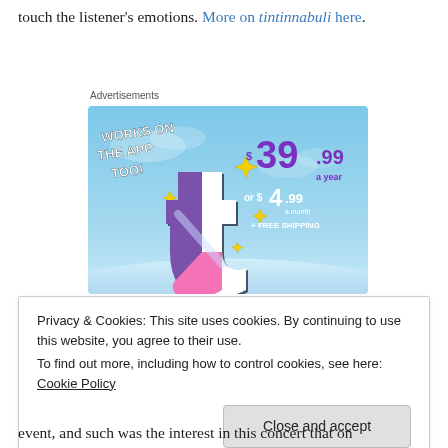touch the listener's emotions. More on tintinnabuli here.
Advertisements
[Figure (infographic): Advertisement banner for a subscription service showing 'WORKS ON THE APP TOO!' text, a stylized letter 't' logo in purple/pink on a blue sky background, with pricing: $39.99 a year or $4.99 a month + FREE SHIPPING]
Privacy & Cookies: This site uses cookies. By continuing to use this website, you agree to their use.
To find out more, including how to control cookies, see here: Cookie Policy
Close and accept
event, and such was the interest in this concert that on